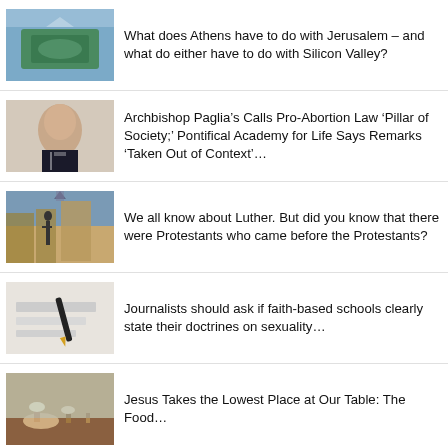What does Athens have to do with Jerusalem – and what do either have to do with Silicon Valley?
Archbishop Paglia’s Calls Pro-Abortion Law ‘Pillar of Society;’ Pontifical Academy for Life Says Remarks ‘Taken Out of Context’…
We all know about Luther. But did you know that there were Protestants who came before the Protestants?
Journalists should ask if faith-based schools clearly state their doctrines on sexuality…
Jesus Takes the Lowest Place at Our Table: The Food…